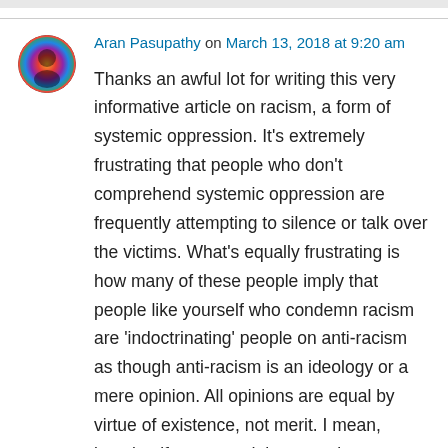Aran Pasupathy on March 13, 2018 at 9:20 am
Thanks an awful lot for writing this very informative article on racism, a form of systemic oppression. It's extremely frustrating that people who don't comprehend systemic oppression are frequently attempting to silence or talk over the victims. What's equally frustrating is how many of these people imply that people like yourself who condemn racism are 'indoctrinating' people on anti-racism as though anti-racism is an ideology or a mere opinion. All opinions are equal by virtue of existence, not merit. I mean, imagine if one stated that aversion to bullying, theft, arson or murder were ideologies or mere